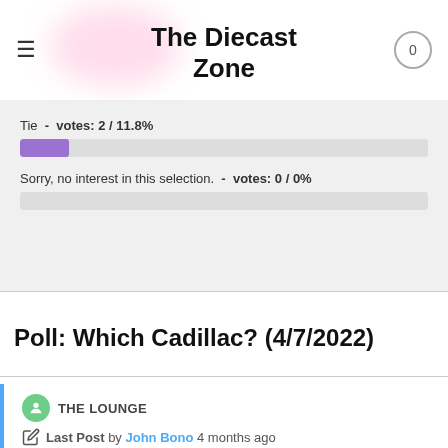The Diecast Zone
Tie - votes: 2 / 11.8%
Sorry, no interest in this selection. - votes: 0 / 0%
Poll: Which Cadillac? (4/7/2022)
THE LOUNGE
Last Post by John Bono 4 months ago